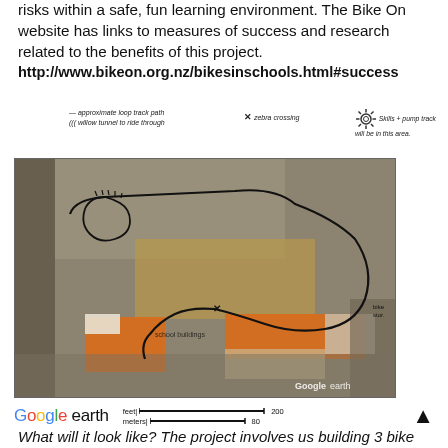risks within a safe, fun learning environment. The Bike On website has links to measures of success and research related to the benefits of this project.
http://www.bikeon.org.nz/bikesinschools.html#success
[Figure (map): Aerial Google Earth satellite image of a school grounds with a hand-drawn bike track path overlaid, showing approximate loop track path, willow tunnel to ride through, zebra crossing marker, skills and pump track area annotation, and bike storage label. Google Earth logo and scale bar visible.]
What will it look like? The project involves us building 3 bike